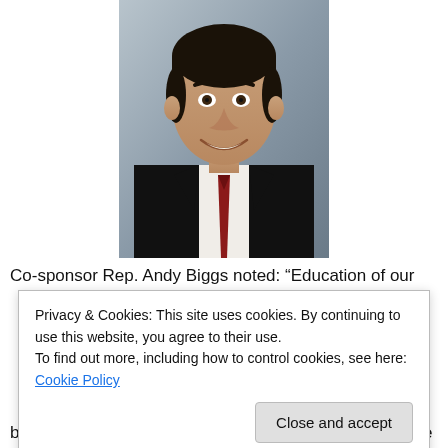[Figure (photo): Professional headshot photo of Rep. Andy Biggs, a man in a dark suit with a red tie and white shirt, smiling, with dark hair, against a neutral background.]
Co-sponsor Rep. Andy Biggs noted: “Education of our
Privacy & Cookies: This site uses cookies. By continuing to use this website, you agree to their use.
To find out more, including how to control cookies, see here: Cookie Policy
Close and accept
beast, and its policies have helped foster Common Core